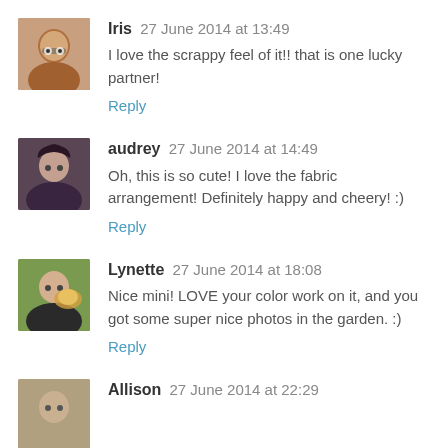Iris 27 June 2014 at 13:49
I love the scrappy feel of it!! that is one lucky partner!
Reply
audrey 27 June 2014 at 14:49
Oh, this is so cute! I love the fabric arrangement! Definitely happy and cheery! :)
Reply
Lynette 27 June 2014 at 18:08
Nice mini! LOVE your color work on it, and you got some super nice photos in the garden. :)
Reply
Allison 27 June 2014 at 22:29